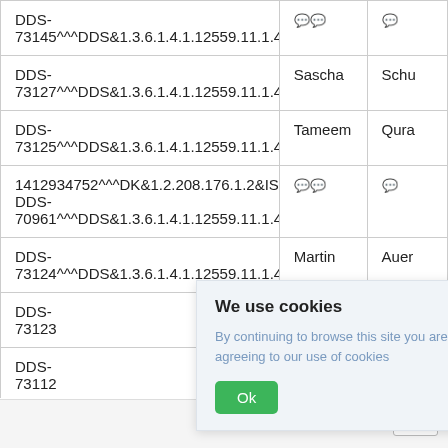| ID | First Name | Last Name |
| --- | --- | --- |
| DDS-73145^^^DDS&1.3.6.1.4.1.12559.11.1.4.1.2&ISO | ðð | ð |
| DDS-73127^^^DDS&1.3.6.1.4.1.12559.11.1.4.1.2&ISO | Sascha | Schu... |
| DDS-73125^^^DDS&1.3.6.1.4.1.12559.11.1.4.1.2&ISO | Tameem | Qura... |
| 1412934752^^^DK&1.2.208.176.1.2&ISO
DDS-70961^^^DDS&1.3.6.1.4.1.12559.11.1.4.1.2&ISO | ðð | ð |
| DDS-73124^^^DDS&1.3.6.1.4.1.12559.11.1.4.1.2&ISO | Martin | Auer... |
| DDS-73123... | ...aria | Järvi... |
| DDS-73112... | ...ipf0624 | chpl... |
We use cookies
By continuing to browse this site you are agreeing to our use of cookies
Ok
About   E